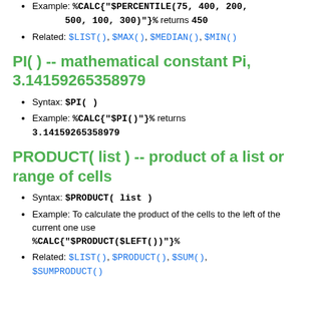Example: %CALC{"$PERCENTILE(75, 400, 200, 500, 100, 300)"}% returns 450
Related: $LIST(), $MAX(), $MEDIAN(), $MIN()
PI( ) -- mathematical constant Pi, 3.14159265358979
Syntax: $PI(  )
Example: %CALC{"$PI()"}% returns 3.14159265358979
PRODUCT( list ) -- product of a list or range of cells
Syntax: $PRODUCT( list )
Example: To calculate the product of the cells to the left of the current one use %CALC{"$PRODUCT($LEFT())"}%
Related: $LIST(), $PRODUCT(), $SUM(), $SUMPRODUCT()